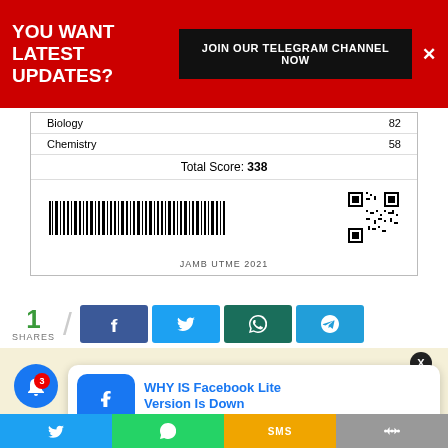YOU WANT LATEST UPDATES?
JOIN OUR TELEGRAM CHANNEL NOW
| Subject | Score |
| --- | --- |
| Biology | 82 |
| Chemistry | 58 |
Total Score: 338
[Figure (other): Barcode and QR code for JAMB UTME result]
JAMB UTME 2021
1
SHARES
[Figure (other): Social share buttons: Facebook, Twitter, WhatsApp, Telegram]
[Figure (other): Notification popup showing Facebook Lite icon with text WHY IS Facebook Lite Version Is Down, 14 minutes ago]
WHY IS Facebook Lite Version Is Down
14 minutes ago